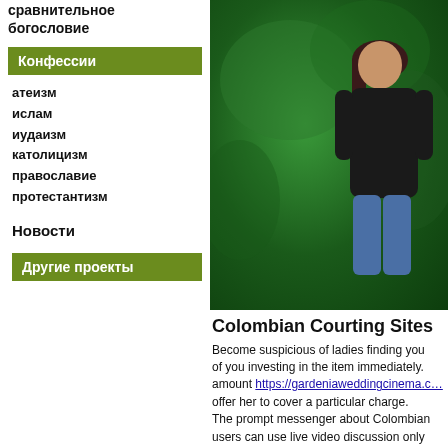сравнительное богословие
Конфессии
атеизм
ислам
иудаизм
католицизм
православие
протестантизм
Новости
Другие проекты
[Figure (photo): Photo of a woman sitting in front of a green textured background]
Colombian Courting Sites
Become suspicious of ladies finding you of you investing in the item immediately. amount https://gardeniaweddingcinema.c... offer her to cover a particular charge. The prompt messenger about Colombian users can use live video discussion only affiliates can stay video talk with anybod sites have a well-known sitemap, which website. The site is definitely thought to